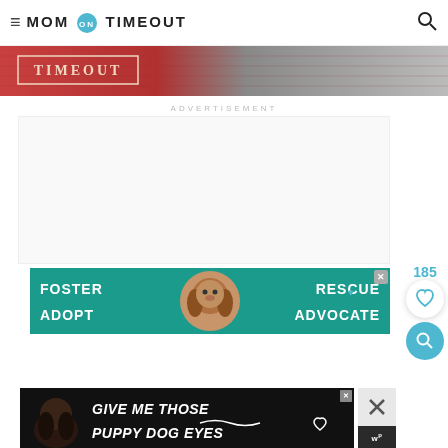≡ MOM ON TIMEOUT 🔍
[Figure (photo): Hero image strip showing MOM ON TIMEOUT text in vintage style with reddish/rustic background]
ADVERTISEMENT
[Figure (photo): Advertisement banner: Foster Adopt / Rescue Advocate with dog image on teal/green background]
[Figure (photo): Bottom advertisement banner: Give me those puppy dog eyes — dark background with dog photo]